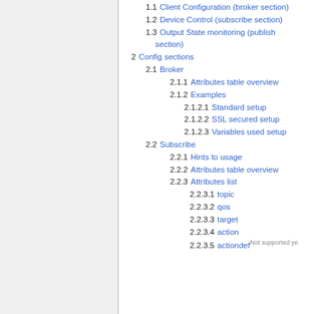1.1 Client Configuration (broker section)
1.2 Device Control (subscribe section)
1.3 Output State monitoring (publish section)
2 Config sections
2.1 Broker
2.1.1 Attributes table overview
2.1.2 Examples
2.1.2.1 Standard setup
2.1.2.2 SSL secured setup
2.1.2.3 Variables used setup
2.2 Subscribe
2.2.1 Hints to usage
2.2.2 Attributes table overview
2.2.3 Attributes list
2.2.3.1 topic
2.2.3.2 qos
2.2.3.3 target
2.2.3.4 action
2.2.3.5 actiondef Not supported yet